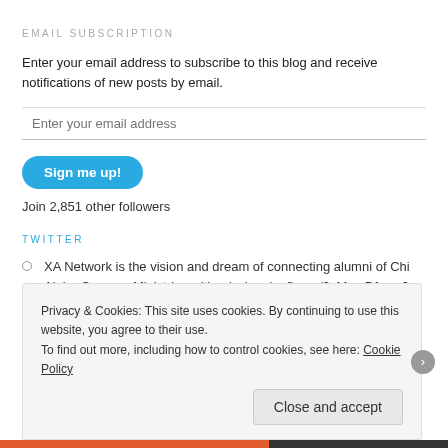EMAIL SUBSCRIPTION
Enter your email address to subscribe to this blog and receive notifications of new posts by email.
Enter your email address
Sign me up!
Join 2,851 other followers
TWITTER
XA Network is the vision and dream of connecting alumni of Chi Alpha Campus Ministries with missional... fb.me/2sMmcDfmw 6 years ago
Privacy & Cookies: This site uses cookies. By continuing to use this website, you agree to their use.
To find out more, including how to control cookies, see here: Cookie Policy
Close and accept